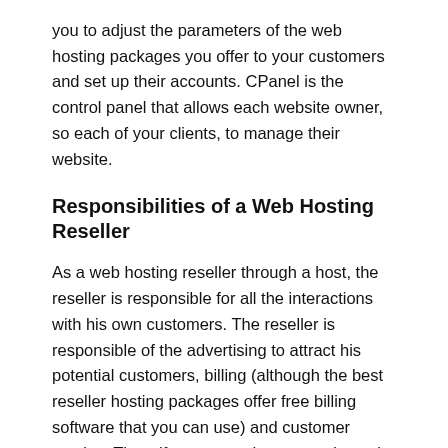you to adjust the parameters of the web hosting packages you offer to your customers and set up their accounts. CPanel is the control panel that allows each website owner, so each of your clients, to manage their website.
Responsibilities of a Web Hosting Reseller
As a web hosting reseller through a host, the reseller is responsible for all the interactions with his own customers. The reseller is responsible of the advertising to attract his potential customers, billing (although the best reseller hosting packages offer free billing software that you can use) and customer service. Thus, if customers have questions, the reseller is the one who answers them. For its part, the company that provides the web hosting reseller plan provides technical support to the reseller, but usually not directly to the reseller's customers. Therefore, although you do not need to possess advanced technical expertise to become a hosting reseller, you must still be quite familiar with web